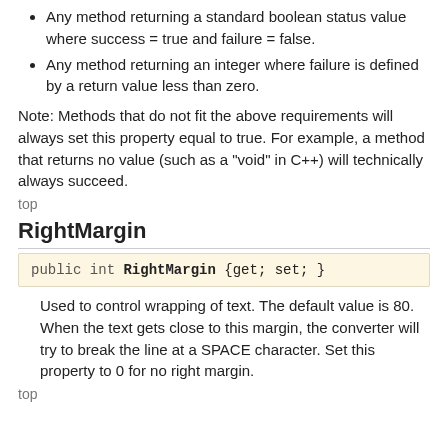Any method returning a standard boolean status value where success = true and failure = false.
Any method returning an integer where failure is defined by a return value less than zero.
Note: Methods that do not fit the above requirements will always set this property equal to true. For example, a method that returns no value (such as a "void" in C++) will technically always succeed.
top
RightMargin
public int RightMargin {get; set; }
Used to control wrapping of text. The default value is 80. When the text gets close to this margin, the converter will try to break the line at a SPACE character. Set this property to 0 for no right margin.
top